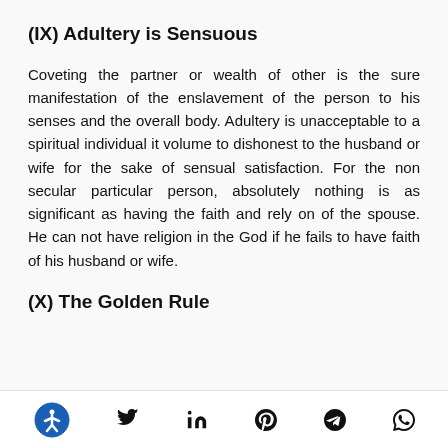(IX) Adultery is Sensuous
Coveting the partner or wealth of other is the sure manifestation of the enslavement of the person to his senses and the overall body. Adultery is unacceptable to a spiritual individual it volume to dishonest to the husband or wife for the sake of sensual satisfaction. For the non secular particular person, absolutely nothing is as significant as having the faith and rely on of the spouse. He can not have religion in the God if he fails to have faith of his husband or wife.
(X) The Golden Rule
[Figure (other): Social sharing footer bar with accessibility icon, Twitter, LinkedIn, Pinterest, Telegram, and WhatsApp icons]